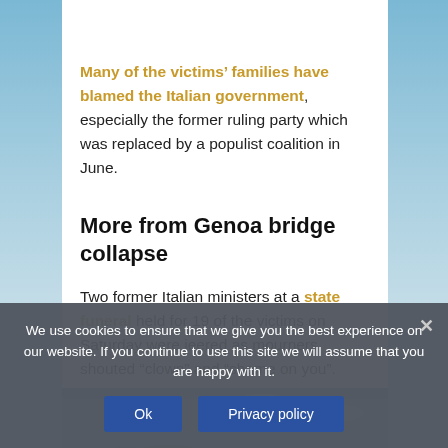Many of the victims' families have blamed the Italian government, especially the former ruling party which was replaced by a populist coalition in June.
More from Genoa bridge collapse
Two former Italian ministers at a state funeral held for 19 of the victims on Saturday were jeered as mourners shouted “clown” and “shame on you”.
[Figure (photo): Partial view of a landscape photo showing hills and sky, partially obscured by a cookie consent banner.]
We use cookies to ensure that we give you the best experience on our website. If you continue to use this site we will assume that you are happy with it.